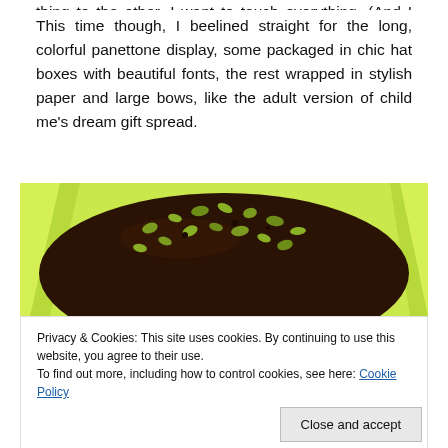This time though, I beelined straight for the long, colorful panettone display, some packaged in chic hat boxes with beautiful fonts, the rest wrapped in stylish paper and large bows, like the adult version of child me's dream gift spread.
[Figure (photo): A close-up photo of a chocolate-covered panettone topped with chopped pistachios, set against bright yellow-green tissue paper packaging.]
Privacy & Cookies: This site uses cookies. By continuing to use this website, you agree to their use.
To find out more, including how to control cookies, see here: Cookie Policy